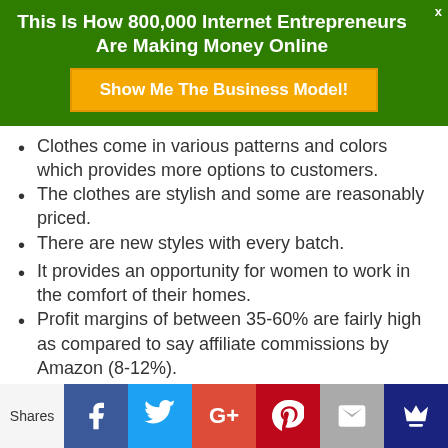This Is How 800,000 Internet Entrepreneurs Are Making Money Online
[Figure (other): Orange CTA button: Show Me The Business Model!]
Clothes come in various patterns and colors which provides more options to customers.
The clothes are stylish and some are reasonably priced.
There are new styles with every batch.
It provides an opportunity for women to work in the comfort of their homes.
Profit margins of between 35-60% are fairly high as compared to say affiliate commissions by Amazon (8-12%).
You get bonus items if you purchase 300 items and above which can increase your profits.
It seems like you are allowed to market your
Shares | Facebook | Twitter | Google+ | Pinterest | Email | Crown